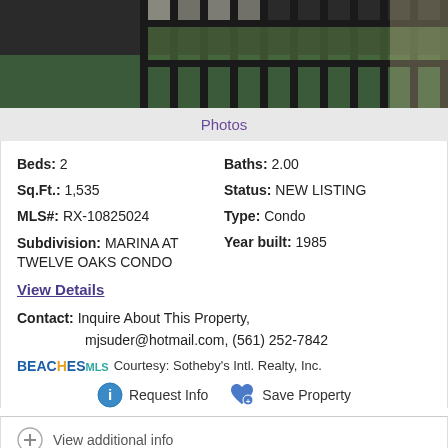[Figure (photo): Photo of metal railing/fence detail, partially cropped at top of listing card]
Photos
Beds: 2   Baths: 2.00
Sq.Ft.: 1,535   Status: NEW LISTING
MLS#: RX-10825024   Type: Condo
Subdivision: MARINA AT TWELVE OAKS CONDO   Year built: 1985
View Details
Contact: Inquire About This Property, mjsuder@hotmail.com, (561) 252-7842
BEACHES MLS Courtesy: Sotheby's Intl. Realty, Inc.
Request Info   Save Property
View additional info
$249,000
343 Southwind 316 Drive #316 North Palm